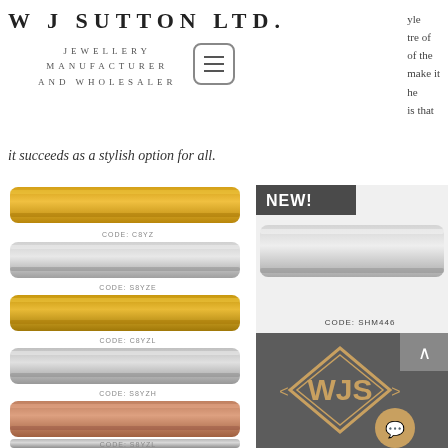W J SUTTON LTD.
yle
tre of
of the
make it
he
is that
JEWELLERY
MANUFACTURER
AND WHOLESALER
it succeeds as a stylish option for all.
[Figure (photo): Product catalog showing multiple Byzantine chain styles in gold, silver, and rose gold with product codes. NEW! badge with silver chain on right side. WJS logo in diamond shape at bottom right.]